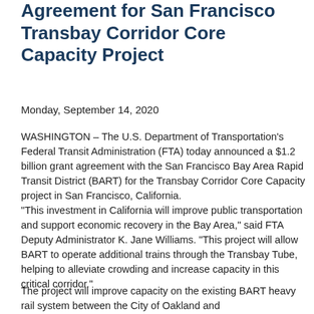Agreement for San Francisco Transbay Corridor Core Capacity Project
Monday, September 14, 2020
WASHINGTON – The U.S. Department of Transportation's Federal Transit Administration (FTA) today announced a $1.2 billion grant agreement with the San Francisco Bay Area Rapid Transit District (BART) for the Transbay Corridor Core Capacity project in San Francisco, California.
"This investment in California will improve public transportation and support economic recovery in the Bay Area," said FTA Deputy Administrator K. Jane Williams. "This project will allow BART to operate additional trains through the Transbay Tube, helping to alleviate crowding and increase capacity in this critical corridor."
The project will improve capacity on the existing BART heavy rail system between the City of Oakland and